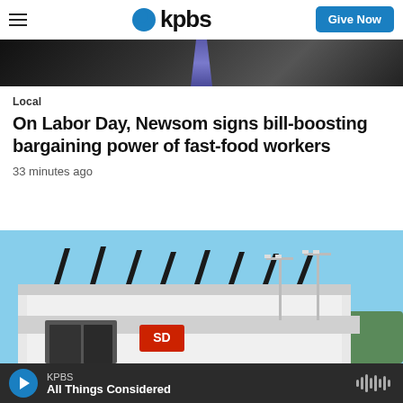kpbs | Give Now
[Figure (photo): Partial view of a person in a dark suit with a purple/blue patterned tie, cropped close.]
Local
On Labor Day, Newsom signs bill-boosting bargaining power of fast-food workers
33 minutes ago
[Figure (photo): Exterior view of a stadium building with distinctive angular black fins/canopies along the roof line, under a clear blue sky.]
KPBS | All Things Considered